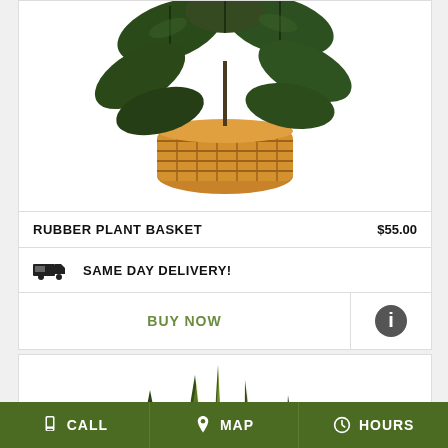[Figure (photo): Rubber plant in a woven wicker basket, green leaves, viewed from above]
RUBBER PLANT BASKET   $55.00
SAME DAY DELIVERY!
BUY NOW
[Figure (photo): Snake plant (sansevieria) with green and yellow-edged leaves]
CALL   MAP   HOURS